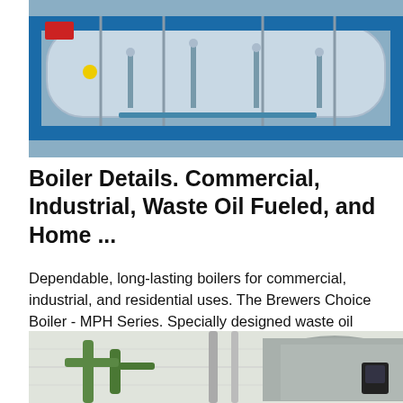[Figure (photo): Industrial boiler equipment with blue frame and piping, viewed from front]
Boiler Details. Commercial, Industrial, Waste Oil Fueled, and Home ...
Dependable, long-lasting boilers for commercial, industrial, and residential uses. The Brewers Choice Boiler - MPH Series. Specially designed waste oil fueled boilers. Click for details. Boiler Models Dependable boilers designed f...
[Figure (infographic): Get Price button (cyan rounded rectangle), WhatsApp icon (green rounded square with phone handset), Contact us now! button (green pill)]
[Figure (photo): Industrial boiler room with green pipes and large cylindrical tank]